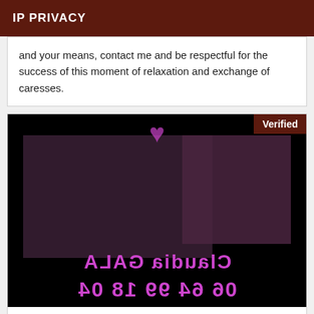IP PRIVACY
and your means, contact me and be respectful for the success of this moment of relaxation and exchange of caresses.
[Figure (photo): Promotional listing card with photos and mirrored text reading 'Claudia GALA' and phone number '06 64 99 18 04', with a 'Verified' badge.]
Gala real woman fountain